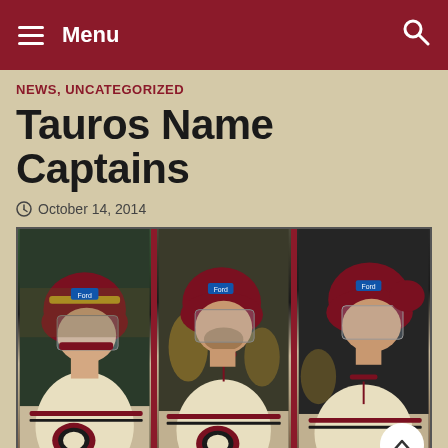≡ Menu
NEWS, UNCATEGORIZED
Tauros Name Captains
October 14, 2014
[Figure (photo): Three hockey players wearing maroon and cream Tauros jerseys and maroon helmets with face shields, shown in a triptych composite photo from a game action setting.]